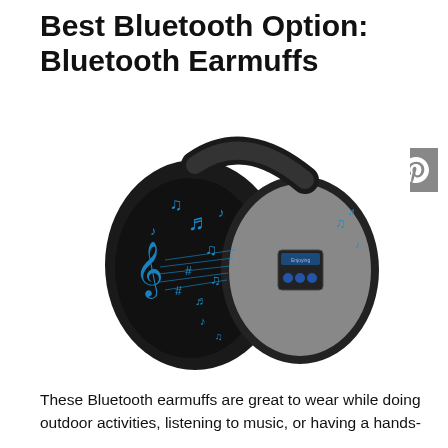Best Bluetooth Option: Bluetooth Earmuffs
[Figure (photo): Product photo of Bluetooth earmuffs (black and gray) with decorative blue music notes and treble clef graphics, and a small control panel on the right earcup]
These Bluetooth earmuffs are great to wear while doing outdoor activities, listening to music, or having a hands-